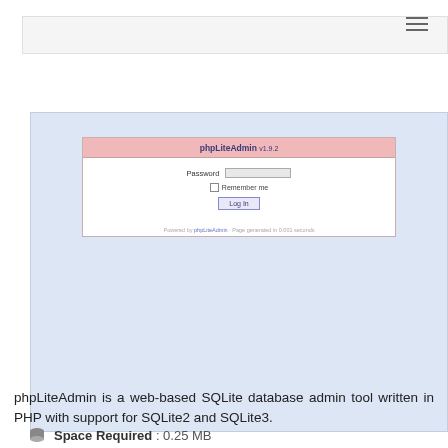[Figure (screenshot): Navigation bar with hamburger menu icon on the right side]
[Figure (screenshot): Screenshot of phpLiteAdmin v1.9.2 login page showing a password field, Remember me checkbox, and Log In button on a light blue background]
phpLiteAdmin is a web-based SQLite database admin tool written in PHP with support for SQLite2 and SQLite3.
Space Required : 0.25 MB